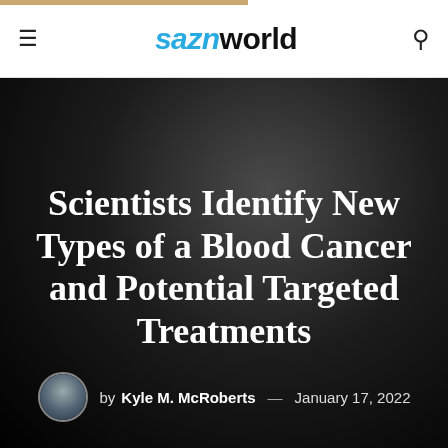saznworld
Scientists Identify New Types of a Blood Cancer and Potential Targeted Treatments
by Kyle M. McRoberts — January 17, 2022